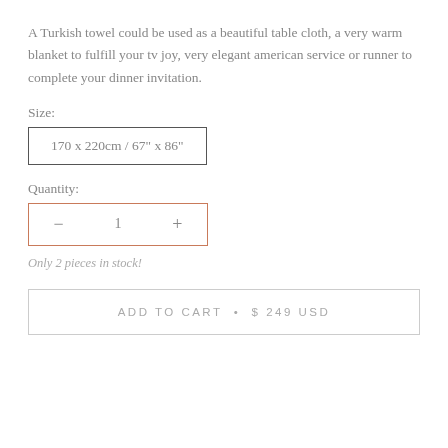A Turkish towel could be used as a beautiful table cloth, a very warm blanket to fulfill your tv joy, very elegant american service or runner to complete your dinner invitation.
Size:
170 x 220cm / 67" x 86"
Quantity:
− 1 +
Only 2 pieces in stock!
ADD TO CART • $ 249 USD